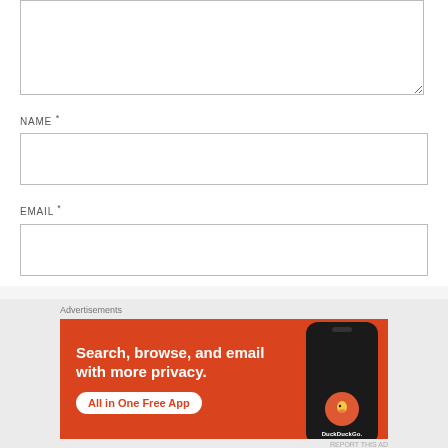[Figure (screenshot): A textarea input box (empty) with resize handle in bottom-right corner]
NAME *
[Figure (screenshot): A text input field for Name (empty)]
EMAIL *
[Figure (screenshot): A text input field for Email (empty)]
Advertisements
[Figure (screenshot): DuckDuckGo advertisement banner: 'Search, browse, and email with more privacy. All in One Free App' with phone mockup showing DuckDuckGo logo]